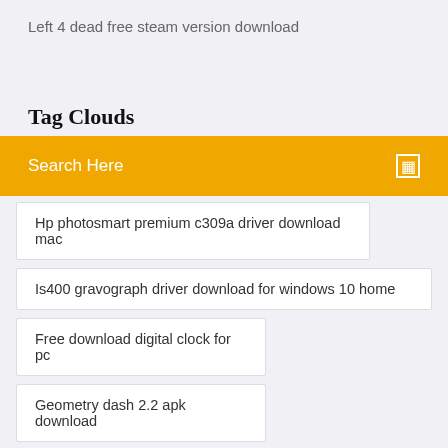Left 4 dead free steam version download
Tag Clouds
Search Here
Hp photosmart premium c309a driver download mac
Is400 gravograph driver download for windows 10 home
Free download digital clock for pc
Geometry dash 2.2 apk download
Download or apk problems
Usb locker software free download full version